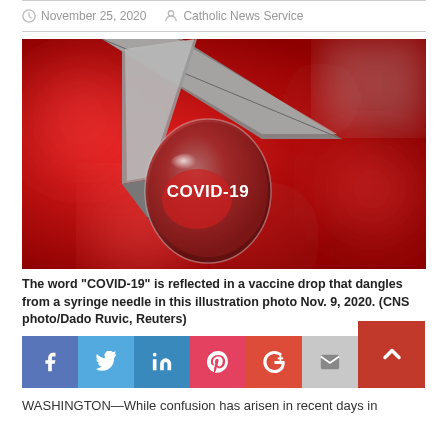November 25, 2020   Catholic News Service
[Figure (photo): Close-up photo of a syringe needle with a water droplet reflecting the word COVID-19 in red, against a blurred red background]
The word "COVID-19" is reflected in a vaccine drop that dangles from a syringe needle in this illustration photo Nov. 9, 2020. (CNS photo/Dado Ruvic, Reuters)
[Figure (infographic): Social share buttons: Facebook, Twitter, LinkedIn, Pinterest, Google+, Email, and scroll-to-top button]
WASHINGTON—While confusion has arisen in recent days in